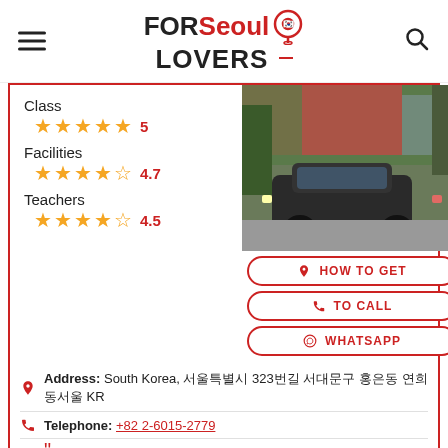FOR Seoul LOVERS
Class
★★★★★ 5
Facilities
★★★★☆ 4.7
Teachers
★★★★☆ 4.5
[Figure (photo): Street view photo showing a dark SUV parked on a road with buildings and foliage in the background]
HOW TO GET
TO CALL
WHATSAPP
Address: South Korea, 서울특별시 323번길 서대문구 홍은동 연희동서울 KR
Telephone: +82 2-6015-2779
Guy: Muay Thai boxing gym